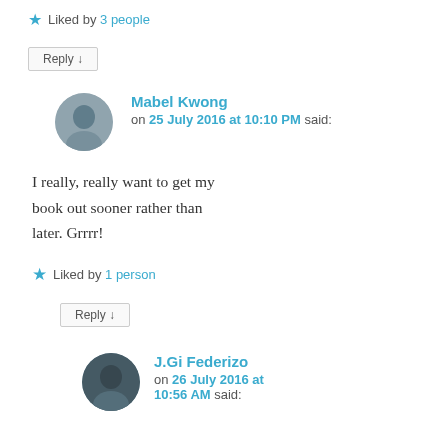★ Liked by 3 people
Reply ↓
Mabel Kwong
on 25 July 2016 at 10:10 PM said:
I really, really want to get my book out sooner rather than later. Grrrr!
★ Liked by 1 person
Reply ↓
J.Gi Federizo
on 26 July 2016 at 10:56 AM said: